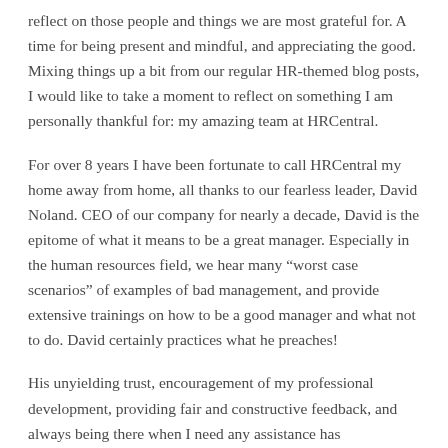reflect on those people and things we are most grateful for. A time for being present and mindful, and appreciating the good. Mixing things up a bit from our regular HR-themed blog posts, I would like to take a moment to reflect on something I am personally thankful for: my amazing team at HRCentral.
For over 8 years I have been fortunate to call HRCentral my home away from home, all thanks to our fearless leader, David Noland. CEO of our company for nearly a decade, David is the epitome of what it means to be a great manager. Especially in the human resources field, we hear many “worst case scenarios” of examples of bad management, and provide extensive trainings on how to be a good manager and what not to do. David certainly practices what he preaches!
His unyielding trust, encouragement of my professional development, providing fair and constructive feedback, and always being there when I need any assistance has